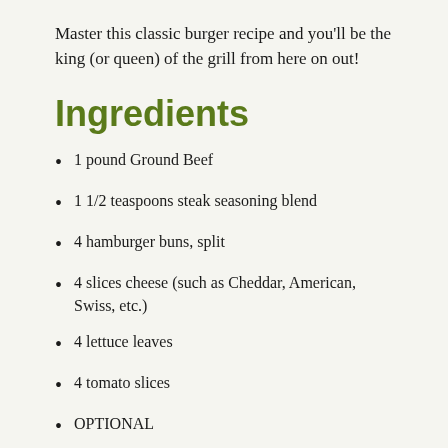Master this classic burger recipe and you'll be the king (or queen) of the grill from here on out!
Ingredients
1 pound Ground Beef
1 1/2 teaspoons steak seasoning blend
4 hamburger buns, split
4 slices cheese (such as Cheddar, American, Swiss, etc.)
4 lettuce leaves
4 tomato slices
OPTIONAL